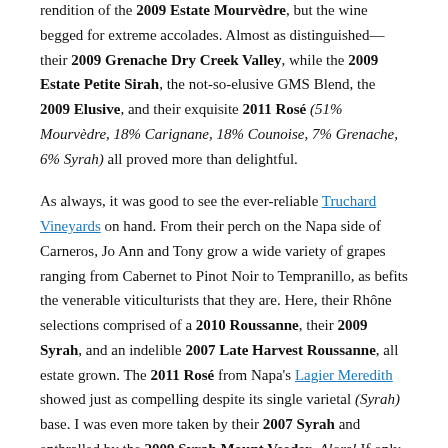rendition of the 2009 Estate Mourvèdre, but the wine begged for extreme accolades. Almost as distinguished—their 2009 Grenache Dry Creek Valley, while the 2009 Estate Petite Sirah, the not-so-elusive GMS Blend, the 2009 Elusive, and their exquisite 2011 Rosé (51% Mourvèdre, 18% Carignane, 18% Counoise, 7% Grenache, 6% Syrah) all proved more than delightful.
As always, it was good to see the ever-reliable Truchard Vineyards on hand. From their perch on the Napa side of Carneros, Jo Ann and Tony grow a wide variety of grapes ranging from Cabernet to Pinot Noir to Tempranillo, as befits the venerable viticulturists that they are. Here, their Rhône selections comprised of a 2010 Roussanne, their 2009 Syrah, and an indelible 2007 Late Harvest Roussanne, all estate grown. The 2011 Rosé from Napa's Lagier Meredith showed just as compelling despite its single varietal (Syrah) base. I was even more taken by their 2007 Syrah and enthralled by the 2009 Syrah Mount Veeder. Alors! If only their newly released 2009 Mondeuse constituted a Rhône varietal!
The
Napa Valley proper rarely strays from its Bordelaise orthodoxy beyond Chardonnay and Zinfandel, so we often think of this as a place unlike...